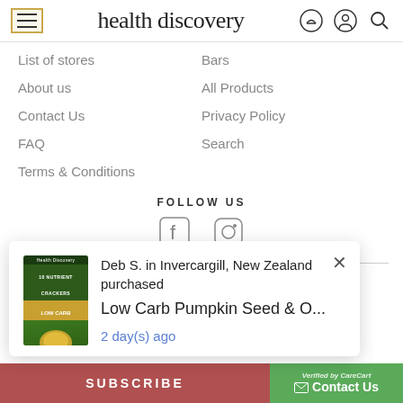health discovery
List of stores
Bars
About us
All Products
Contact Us
Privacy Policy
FAQ
Search
Terms & Conditions
FOLLOW US
Subscribe to our newsletter
Deb S. in Invercargill, New Zealand purchased
Low Carb Pumpkin Seed & O...
2 day(s) ago
SUBSCRIBE
Contact Us